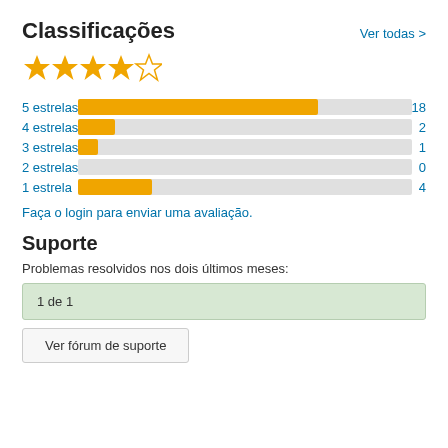Classificações
Ver todas >
[Figure (other): 4 filled gold stars and 1 empty star rating display]
[Figure (bar-chart): Classificações por estrelas]
Faça o login para enviar uma avaliação.
Suporte
Problemas resolvidos nos dois últimos meses:
1 de 1
Ver fórum de suporte